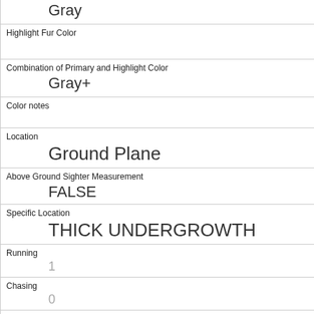| Gray |
| Highlight Fur Color |  |
| Combination of Primary and Highlight Color | Gray+ |
| Color notes |  |
| Location | Ground Plane |
| Above Ground Sighter Measurement | FALSE |
| Specific Location | THICK UNDERGROWTH |
| Running | 1 |
| Chasing | 0 |
| Climbing | 0 |
| Eating | 0 |